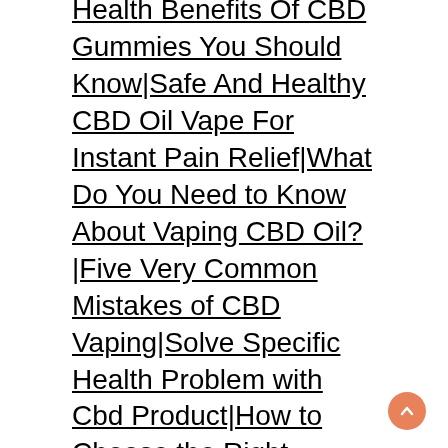Health Benefits Of CBD Gummies You Should Know|Safe And Healthy CBD Oil Vape For Instant Pain Relief|What Do You Need to Know About Vaping CBD Oil?|Five Very Common Mistakes of CBD Vaping|Solve Specific Health Problem with Cbd Product|How to Choose the Right Dosage of CBD Edibles?|What Temperature Should I Vape CBD Oil?|How Isolated CBD Oil Helps in Anxiety Relief?|How Is CBD Oil Different From CBD Tincture|Take A Look At On Complete Review Of JustCBD Products|Avail The CBD Products Wholesale Online With Great Deals|Solve Negative Impact on Life with the Cbd Oil Uk|Going To Buy Bubblers For First Time? Look At These